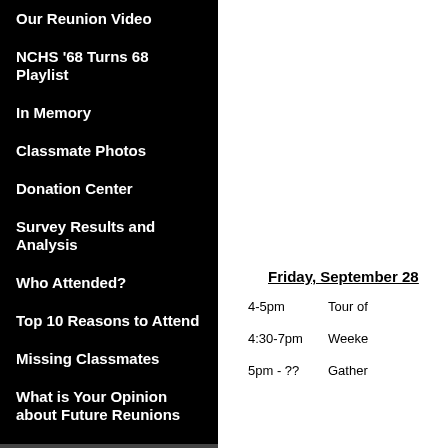Our Reunion Video
NCHS '68 Turns 68 Playlist
In Memory
Classmate Photos
Donation Center
Survey Results and Analysis
Who Attended?
Top 10 Reasons to Attend
Missing Classmates
What is Your Opinion about Future Reunions
Friday, September 28
4-5pm    Tour of
4:30-7pm    Weeke
5pm - ??    Gather conversations!  Enjoy the clas